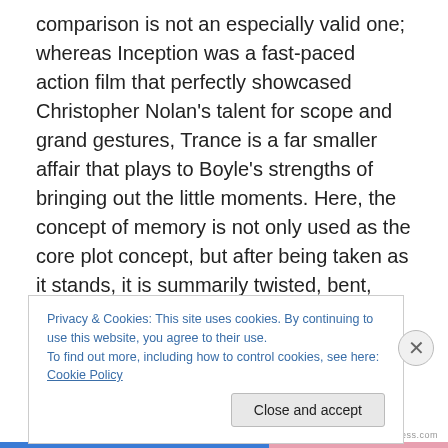comparison is not an especially valid one; whereas Inception was a fast-paced action film that perfectly showcased Christopher Nolan's talent for scope and grand gestures, Trance is a far smaller affair that plays to Boyle's strengths of bringing out the little moments. Here, the concept of memory is not only used as the core plot concept, but after being taken as it stands, it is summarily twisted, bent, lost, found, stamped all over, made to run around in circles for three hours, soaked, wrung out to dry and then left in a tangled mess that renders the simplicity of the original concept almost unrecognisable. Suffice it to
Privacy & Cookies: This site uses cookies. By continuing to use this website, you agree to their use.
To find out more, including how to control cookies, see here: Cookie Policy
Close and accept